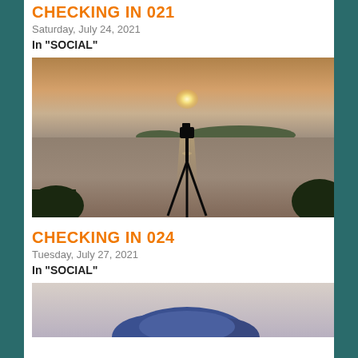CHECKING IN 021
Saturday, July 24, 2021
In "SOCIAL"
[Figure (photo): A camera on a tripod silhouetted against a sunset over a lake or bay, with islands visible in the background and trees framing the foreground.]
CHECKING IN 024
Tuesday, July 27, 2021
In "SOCIAL"
[Figure (photo): Partially visible photo showing a blue rocky formation or building against a light sky.]